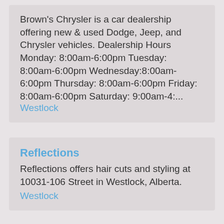Brown's Chrysler is a car dealership offering new & used Dodge, Jeep, and Chrysler vehicles. Dealership Hours Monday: 8:00am-6:00pm Tuesday: 8:00am-6:00pm Wednesday:8:00am-6:00pm Thursday: 8:00am-6:00pm Friday: 8:00am-6:00pm Saturday: 9:00am-4:...
Westlock
Reflections
Reflections offers hair cuts and styling at 10031-106 Street in Westlock, Alberta.
Westlock
Ramada Westlock
Ramada in Westlock has an indoor swimming pool with waterslide & hot tub, continental breakfast, wifi internet, pet friendly rooms